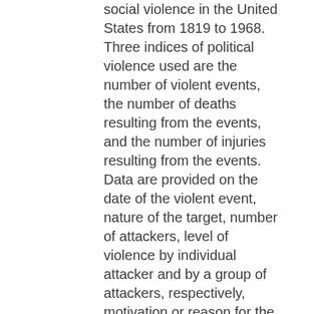social violence in the United States from 1819 to 1968. Three indices of political violence used are the number of violent events, the number of deaths resulting from the events, and the number of injuries resulting from the events. Data are provided on the date of the violent event, nature of the target, number of attackers, level of violence by individual attacker and by a group of attackers, respectively, motivation or reason for the attack, numbers of deaths and injuries to targeted individuals and to attackers, type of attacker, property damage, and number of pages in newspaper issue devoted to the event. The data were